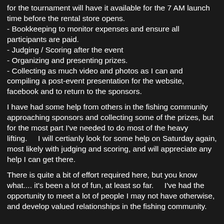for the tournament will have it available for the 7 AM launch time before the rental store opens.
- Bookkeeping to monitor expenses and ensure all participants are paid.
- Judging / Scoring after the event
- Organizing and presenting prizes.
- Collecting as much video and photos as I can and compiling a post-event presentation for the website, facebook and to return to the sponsors.
I have had some help from others in the fishing community approaching sponsors and collecting some of the prizes, but for the most part I've needed to do most of the heavy lifting.    I will certianly look for some help on Saturday again, most likely with judging and scoring, and will appreciate any help I can get there.
There is quite a bit of effort required here, but you know what.... it's been a lot of fun, at least so far.    I've had the opportunity to meet a lot of people I may not have otherwise, and develop valued relationships in the fishing community.